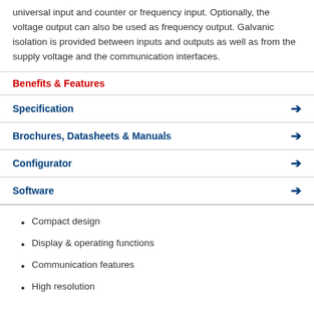universal input and counter or frequency input. Optionally, the voltage output can also be used as frequency output. Galvanic isolation is provided between inputs and outputs as well as from the supply voltage and the communication interfaces.
Benefits & Features
Specification
Brochures, Datasheets & Manuals
Configurator
Software
Compact design
Display & operating functions
Communication features
High resolution